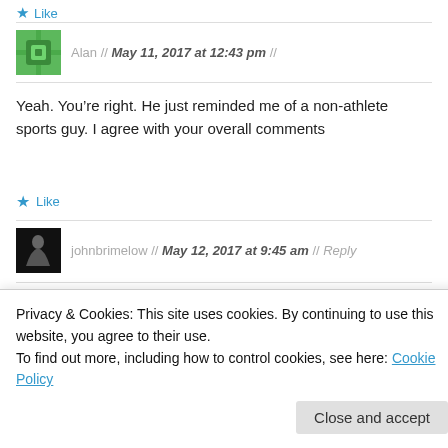★ Like
Alan // May 11, 2017 at 12:43 pm //
Yeah. You're right. He just reminded me of a non-athlete sports guy. I agree with your overall comments
★ Like
johnbrimelow // May 12, 2017 at 9:45 am // Reply
What I really want for Christmas – a second audio
Privacy & Cookies: This site uses cookies. By continuing to use this website, you agree to their use.
To find out more, including how to control cookies, see here: Cookie Policy
Close and accept